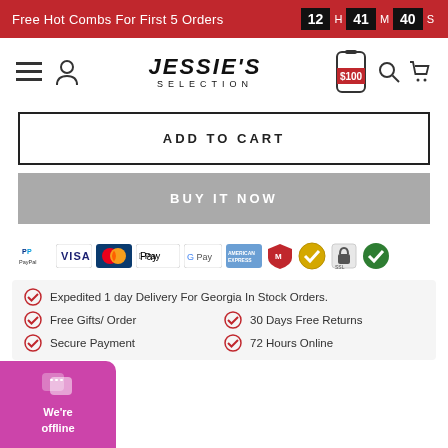Free Hot Combs For First 5 Orders  12 H 41 M 40 S
[Figure (logo): Jessie's Selection logo with hamburger menu, user icon, $100 badge, search and cart icons]
ADD TO CART
BUY IT NOW
[Figure (infographic): Payment method icons: PayPal, VISA, Mastercard, Apple Pay, Google Pay, American Express, McAfee, verified checkmark, SSL, secure checkmark]
Expedited 1 day Delivery For Georgia In Stock Orders.
Free Gifts/ Order
30 Days Free Returns
Secure Payment
72 Hours Online